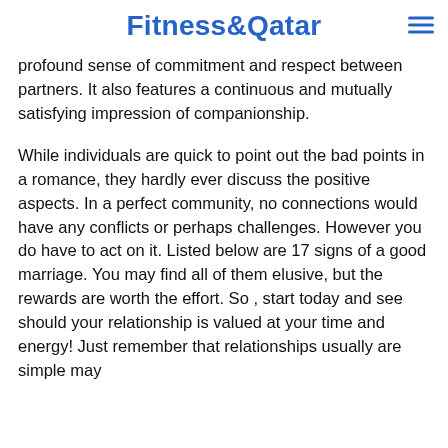Fitness&Qatar
profound sense of commitment and respect between partners. It also features a continuous and mutually satisfying impression of companionship.
While individuals are quick to point out the bad points in a romance, they hardly ever discuss the positive aspects. In a perfect community, no connections would have any conflicts or perhaps challenges. However you do have to act on it. Listed below are 17 signs of a good marriage. You may find all of them elusive, but the rewards are worth the effort. So , start today and see should your relationship is valued at your time and energy! Just remember that relationships usually are simple may